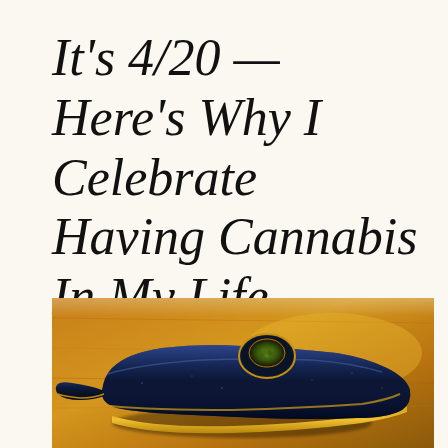It's 4/20 — Here's Why I Celebrate Having Cannabis In My Life
[Figure (photo): A dark blue/black glass cannabis smoking pipe with gold accents, resting on a warm golden-brown wooden surface. The bowl of the pipe is filled with green cannabis material. The pipe has a smooth, glossy finish with a distinctive rounded shape.]